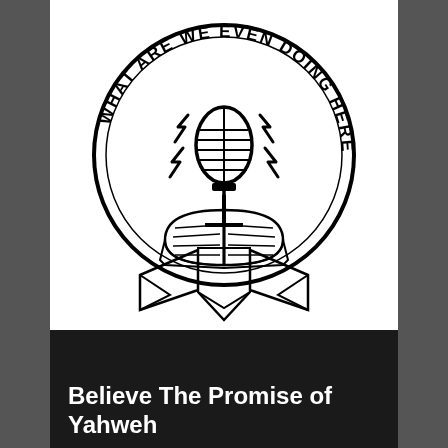[Figure (logo): Circular logo reading 'WHAT ARE WE EVEN DOING HERE?' around the outside, with a vintage microphone and open book in the center, lightning bolts radiating from the microphone, and a banner/ribbon at the bottom.]
Believe The Promise of Yahweh